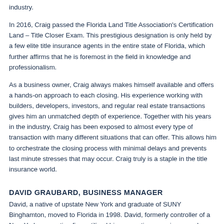industry.
In 2016, Craig passed the Florida Land Title Association's Certification Land – Title Closer Exam. This prestigious designation is only held by a few elite title insurance agents in the entire state of Florida, which further affirms that he is foremost in the field in knowledge and professionalism.
As a business owner, Craig always makes himself available and offers a hands-on approach to each closing. His experience working with builders, developers, investors, and regular real estate transactions gives him an unmatched depth of experience. Together with his years in the industry, Craig has been exposed to almost every type of transaction with many different situations that can offer. This allows him to orchestrate the closing process with minimal delays and prevents last minute stresses that may occur. Craig truly is a staple in the title insurance world.
DAVID GRAUBARD, BUSINESS MANAGER
David, a native of upstate New York and graduate of SUNY Binghamton, moved to Florida in 1998. David, formerly controller of a New York accounting firm, utilized his accounting experience and...